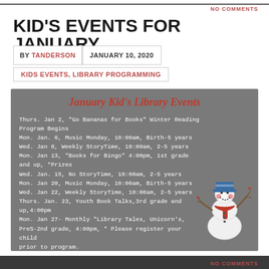NO COMMENTS
KID'S EVENTS FOR JANUARY
BY TANDERSON | JANUARY 10, 2020
KIDS EVENTS, LIBRARY PROGRAMMING
[Figure (infographic): Gray box with January Kid's Library Events listing and snowman illustration]
NO COMMENTS